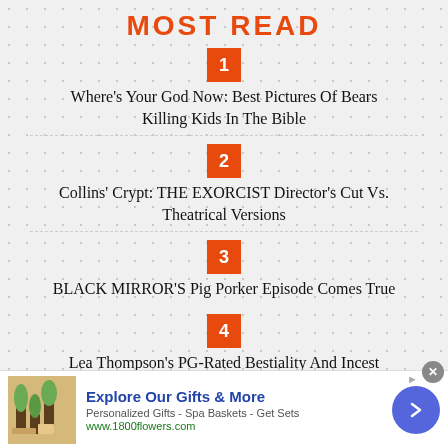MOST READ
1 — Where's Your God Now: Best Pictures Of Bears Killing Kids In The Bible
2 — Collins' Crypt: THE EXORCIST Director's Cut Vs. Theatrical Versions
3 — BLACK MIRROR'S Pig Porker Episode Comes True
4 — Lea Thompson's PG-Rated Bestiality And Incest
Explore Our Gifts & More — Personalized Gifts - Spa Baskets - Get Sets — www.1800flowers.com